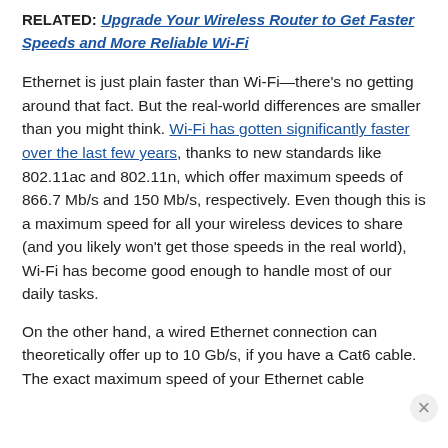RELATED: Upgrade Your Wireless Router to Get Faster Speeds and More Reliable Wi-Fi
Ethernet is just plain faster than Wi-Fi—there's no getting around that fact. But the real-world differences are smaller than you might think. Wi-Fi has gotten significantly faster over the last few years, thanks to new standards like 802.11ac and 802.11n, which offer maximum speeds of 866.7 Mb/s and 150 Mb/s, respectively. Even though this is a maximum speed for all your wireless devices to share (and you likely won't get those speeds in the real world), Wi-Fi has become good enough to handle most of our daily tasks.
On the other hand, a wired Ethernet connection can theoretically offer up to 10 Gb/s, if you have a Cat6 cable. The exact maximum speed of your Ethernet cable